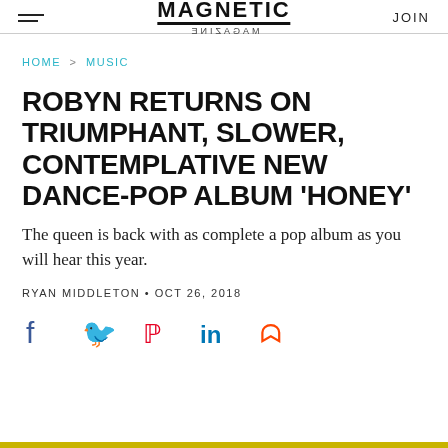MAGNETIC MAGAZINE | JOIN
HOME > MUSIC
ROBYN RETURNS ON TRIUMPHANT, SLOWER, CONTEMPLATIVE NEW DANCE-POP ALBUM 'HONEY'
The queen is back with as complete a pop album as you will hear this year.
RYAN MIDDLETON • OCT 26, 2018
[Figure (other): Social share icons: Facebook, Twitter, Pinterest, LinkedIn, Reddit]